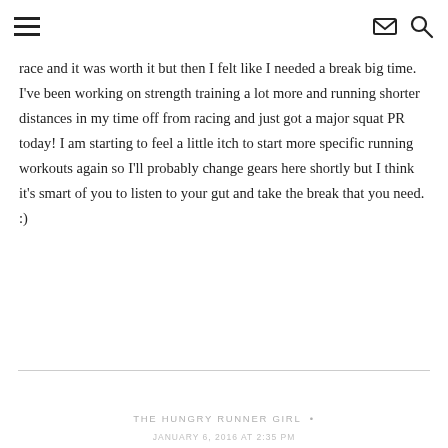[hamburger menu icon] [email icon] [search icon]
race and it was worth it but then I felt like I needed a break big time. I’ve been working on strength training a lot more and running shorter distances in my time off from racing and just got a major squat PR today! I am starting to feel a little itch to start more specific running workouts again so I’ll probably change gears here shortly but I think it’s smart of you to listen to your gut and take the break that you need. :)
THE HUNGRY RUNNER GIRL •
JANUARY 6, 2016 AT 2:35 PM